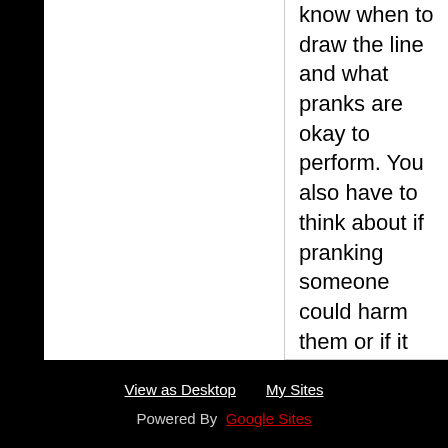know when to draw the line and what pranks are okay to perform. You also have to think about if pranking someone could harm them or if it could affect their life in any way before doing so. Pranks are practical jokes; they are not meant to torment or ruin people's lives.
Comments
View as Desktop   My Sites   Powered By Google Sites